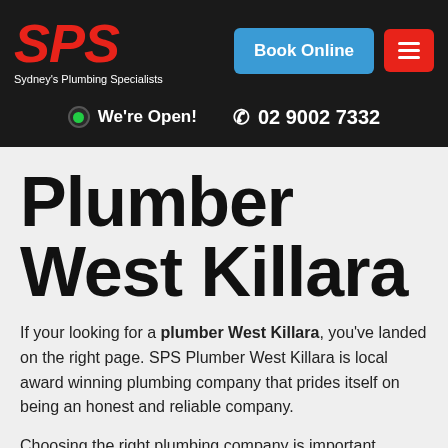[Figure (logo): SPS Sydney's Plumbing Specialists logo in red italic bold text on dark background]
[Figure (screenshot): Book Online blue button and red hamburger menu button in header]
We're Open!   02 9002 7332
Plumber West Killara
If your looking for a plumber West Killara, you've landed on the right page. SPS Plumber West Killara is local award winning plumbing company that prides itself on being an honest and reliable company.
Choosing the right plumbing company is important